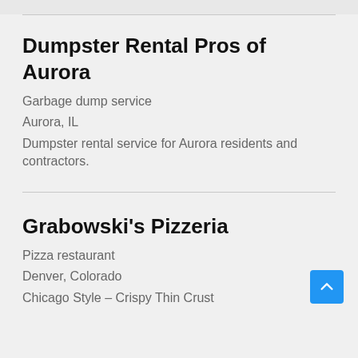Dumpster Rental Pros of Aurora
Garbage dump service
Aurora, IL
Dumpster rental service for Aurora residents and contractors.
Grabowski's Pizzeria
Pizza restaurant
Denver, Colorado
Chicago Style – Crispy Thin Crust